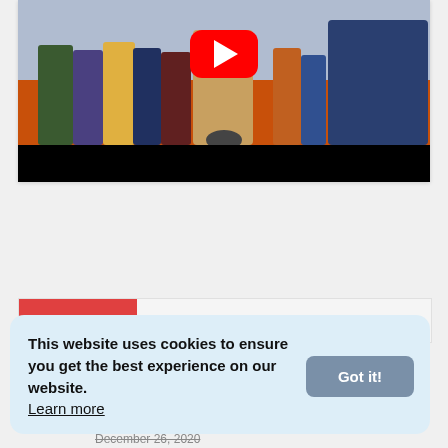[Figure (screenshot): YouTube video thumbnail showing a group of people at an outdoor event on an orange/red carpet, with a YouTube red play button overlay in the center. The video player has a black bar at the bottom.]
RECENT
This website uses cookies to ensure you get the best experience on our website. Learn more
Got it!
December 26, 2020